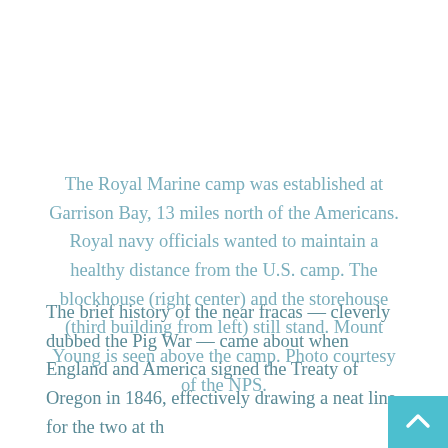The Royal Marine camp was established at Garrison Bay, 13 miles north of the Americans. Royal navy officials wanted to maintain a healthy distance from the U.S. camp. The blockhouse (right center) and the storehouse (third building from left) still stand. Mount Young is seen above the camp. Photo courtesy of the NPS.
The brief history of the near fracas — cleverly dubbed the Pig War — came about when England and America signed the Treaty of Oregon in 1846, effectively drawing a neat line for the two at th